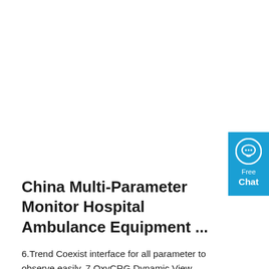[Figure (logo): Blue chat widget with speech bubble icon, 'Free Chat' label]
China Multi-Parameter Monitor Hospital Ambulance Equipment ...
6.Trend Coexist interface for all parameter to observe easily. 7.OxyCRG Dynamic View display, More intultive with all parameters. 8.Platform scalable with cable or wireless connecting to central monitoring. 9.Printer /Recorder is optional for real-time printing. 10.Brief operation interface, Touchscreen is optional.